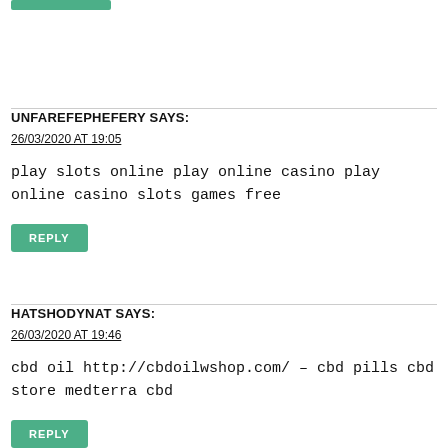UNFAREFEPHEFERY SAYS:
26/03/2020 AT 19:05
play slots online play online casino play online casino slots games free
REPLY
HATSHODYNAT SAYS:
26/03/2020 AT 19:46
cbd oil http://cbdoilwshop.com/ – cbd pills cbd store medterra cbd
REPLY